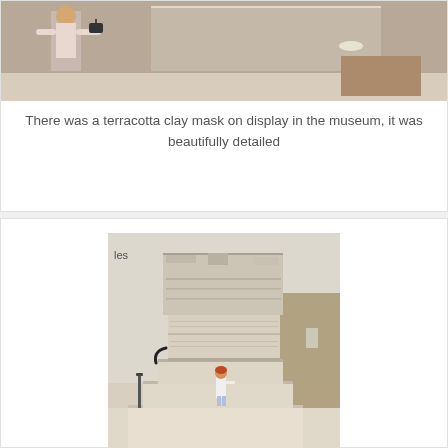[Figure (photo): Photo of a person near a display in a museum, showing part of a terracotta clay mask exhibit]
There was a terracotta clay mask on display in the museum, it was beautifully detailed
[Figure (photo): Photo of a small figure (Laura) standing next to a large stone carved fountain-like structure on steps in a museum, with text overlay 'les' in top left corner]
Laura was intrigued by this stone carved fountain like structure in the